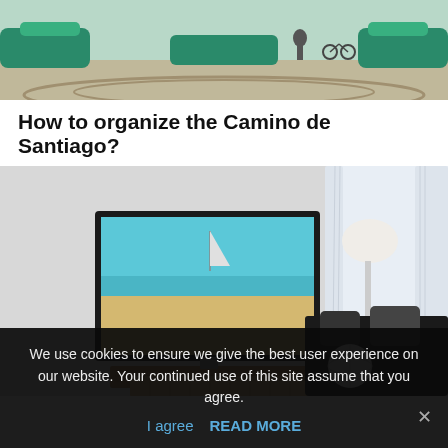[Figure (photo): Outdoor plaza or park area with green curved bench/wall structures, people and a bicycle visible in background, bright daylight.]
How to organize the Camino de Santiago?
[Figure (photo): Modern hotel room interior with a wall-mounted flat screen TV showing a beach/ocean scene, a wooden console table beneath it, a black sofa with dark pillows, a globe-shaped object, and a large window with white curtains on the right.]
We use cookies to ensure we give the best user experience on our website. Your continued use of this site assume that you agree.
I agree  READ MORE